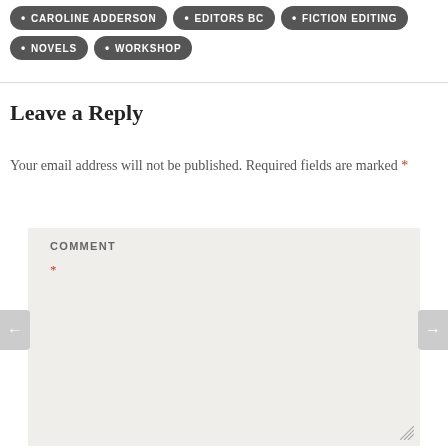CAROLINE ADDERSON
EDITORS BC
FICTION EDITING
NOVELS
WORKSHOP
Leave a Reply
Your email address will not be published. Required fields are marked *
COMMENT *